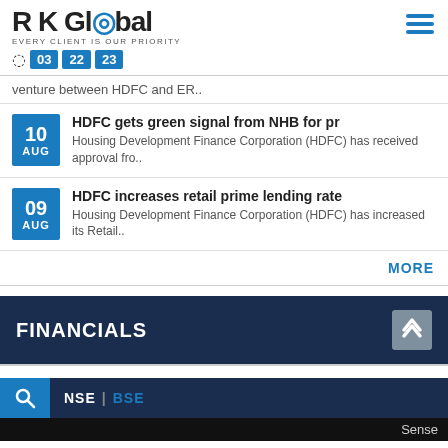[Figure (logo): R K Global logo with globe icon and tagline EVERY CLIENT IS OUR PRIORITY]
03 22 23
venture between HDFC and ER..
10 AUG - HDFC gets green signal from NHB for pr - Housing Development Finance Corporation (HDFC) has received approval fro..
09 AUG - HDFC increases retail prime lending rate - Housing Development Finance Corporation (HDFC) has increased its Retail..
MORE
FINANCIALS
NSE | BSE
Sense